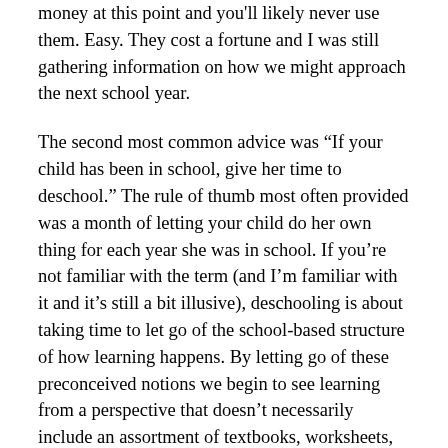money at this point and you'll likely never use them. Easy. They cost a fortune and I was still gathering information on how we might approach the next school year.
The second most common advice was “If your child has been in school, give her time to deschool.” The rule of thumb most often provided was a month of letting your child do her own thing for each year she was in school. If you’re not familiar with the term (and I’m familiar with it and it’s still a bit illusive), deschooling is about taking time to let go of the school-based structure of how learning happens. By letting go of these preconceived notions we begin to see learning from a perspective that doesn’t necessarily include an assortment of textbooks, worksheets, project centers, tests, allotted time slots, and other deeply-rooted beliefs in the tools of education. This just glosses over the shiny freedom of deschooling. Believe me, it’s much more extensive than that. There are